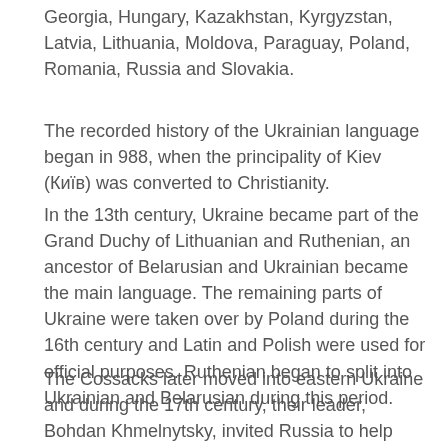Georgia, Hungary, Kazakhstan, Kyrgyzstan, Latvia, Lithuania, Moldova, Paraguay, Poland, Romania, Russia and Slovakia.
The recorded history of the Ukrainian language began in 988, when the principality of Kiev (Київ) was converted to Christianity.
In the 13th century, Ukraine became part of the Grand Duchy of Lithuanian and Ruthenian, an ancestor of Belarusian and Ukrainian became the main language. The remaining parts of Ukraine were taken over by Poland during the 16th century and Latin and Polish were used for official purposes. Ruthenian began to split into Ukrainian and Belarusian during this period.
The Cossacks later moved into eastern Ukraine and during the 17th century, their leader, Bohdan Khmelnytsky, invited Russia to help against Polish domination in 1648. During the reign of Catherine the Great, the Cossacks moved to the eastern frontiers of Russia, but Ukraine remained under Russian domination, and the Russians considered the Ukrainian language as little more than a dialect of Russian. Ukrainian reformists from...